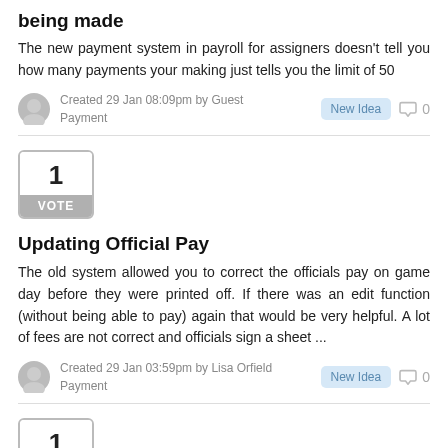being made
The new payment system in payroll for assigners doesn't tell you how many payments your making just tells you the limit of 50
Created 29 Jan 08:09pm by Guest
Payment
[Figure (other): Vote box showing number 1 with VOTE label]
Updating Official Pay
The old system allowed you to correct the officials pay on game day before they were printed off. If there was an edit function (without being able to pay) again that would be very helpful. A lot of fees are not correct and officials sign a sheet ...
Created 29 Jan 03:59pm by Lisa Orfield
Payment
[Figure (other): Vote box showing number 1 with VOTE label (partial, bottom of page)]